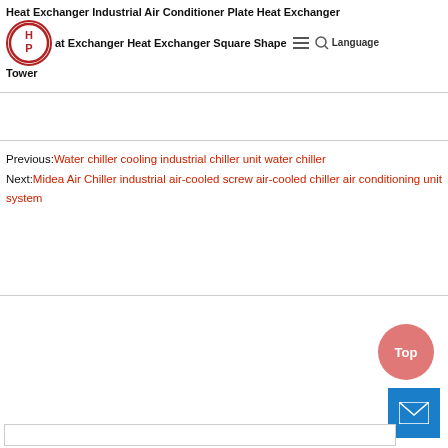Heat Exchanger Industrial Air Conditioner Plate Heat Exchanger Plate Heat Exchanger Heat Exchanger Square Shape Cooling Tower
Previous: Water chiller cooling industrial chiller unit water chiller
Next: Midea Air Chiller industrial air-cooled screw air-cooled chiller air conditioning unit system
[Figure (logo): Circular logo with H and P letters stylized in red]
[Figure (other): Top button (salmon/pink circle) with 'Top' text, and blue mail icon button]